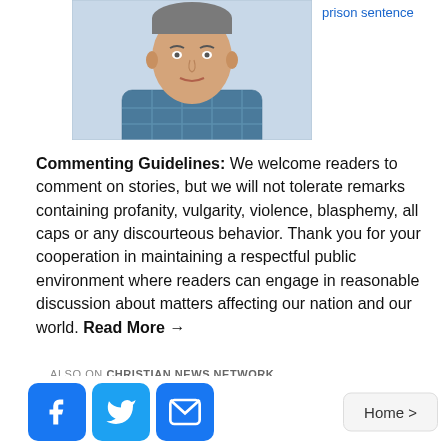[Figure (photo): Portrait photo of a middle-aged man in a plaid shirt, top portion of the page]
prison sentence
Commenting Guidelines: We welcome readers to comment on stories, but we will not tolerate remarks containing profanity, vulgarity, violence, blasphemy, all caps or any discourteous behavior. Thank you for your cooperation in maintaining a respectful public environment where readers can engage in reasonable discussion about matters affecting our nation and our world. Read More →
ALSO ON CHRISTIAN NEWS NETWORK
[Figure (photo): Chinese flag painted on brick wall with stars]
[Figure (photo): NHS Sandyford logo/banner on blue background]
Home >